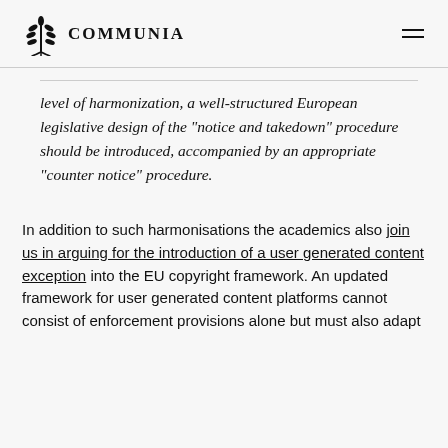COMMUNIA
level of harmonization, a well-structured European legislative design of the “notice and takedown” procedure should be introduced, accompanied by an appropriate “counter notice” procedure.
In addition to such harmonisations the academics also join us in arguing for the introduction of a user generated content exception into the EU copyright framework. An updated framework for user generated content platforms cannot consist of enforcement provisions alone but must also adapt the rights that are exclusive rights to content...